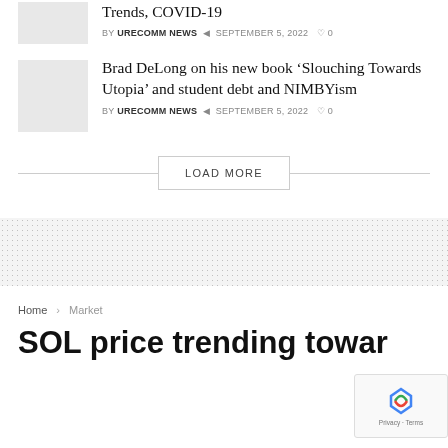Trends, COVID-19
BY URECOMM NEWS  SEPTEMBER 5, 2022  0
[Figure (photo): Gray thumbnail image placeholder]
Brad DeLong on his new book ‘Slouching Towards Utopia’ and student debt and NIMBYism
BY URECOMM NEWS  SEPTEMBER 5, 2022  0
LOAD MORE
[Figure (other): Dotted/stippled gray background banner section]
Home > Market
SOL price trending towar…